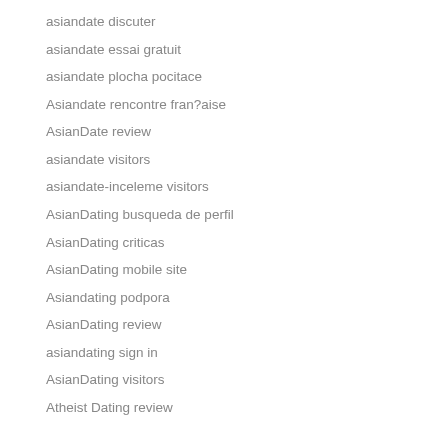asiandate discuter
asiandate essai gratuit
asiandate plocha pocitace
Asiandate rencontre fran?aise
AsianDate review
asiandate visitors
asiandate-inceleme visitors
AsianDating busqueda de perfil
AsianDating criticas
AsianDating mobile site
Asiandating podpora
AsianDating review
asiandating sign in
AsianDating visitors
Atheist Dating review